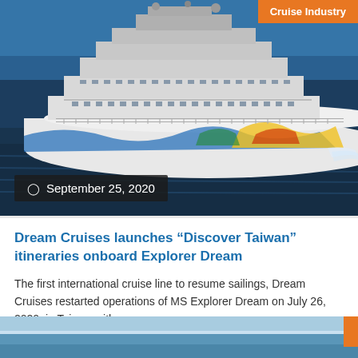[Figure (photo): Aerial view of a large cruise ship (Explorer Dream) with colorful hull artwork sailing on blue ocean waters. Orange 'Cruise Industry' badge in top-right corner.]
September 25, 2020
Dream Cruises launches “Discover Taiwan” itineraries onboard Explorer Dream
The first international cruise line to resume sailings, Dream Cruises restarted operations of MS Explorer Dream on July 26, 2020, in Taiwan with...
[Figure (photo): Partial view of another cruise-related image at the bottom of the page, showing blue sky and water.]